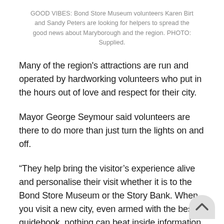GOOD VIBES: Bond Store Museum volunteers Karen Birt and Sandy Peters are looking for helpers to spread the good news about Maryborough and the region. PHOTO: Supplied.
Many of the region's attractions are run and operated by hardworking volunteers who put in the hours out of love and respect for their city.
Mayor George Seymour said volunteers are there to do more than just turn the lights on and off.
“They help bring the visitor’s experience alive and personalise their visit whether it is to the Bond Store Museum or the Story Bank. When you visit a new city, even armed with the best guidebook, nothing can beat inside information from locals on the best places to visit,” Cr Seymour said.